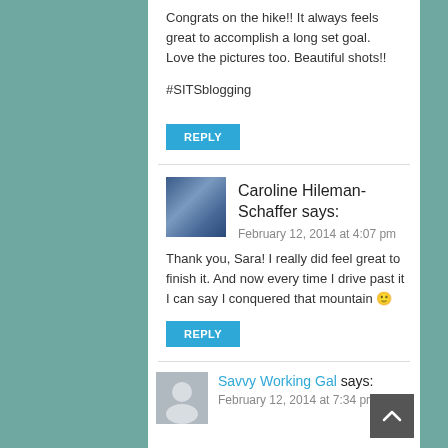Congrats on the hike!! It always feels great to accomplish a long set goal. Love the pictures too. Beautiful shots!!
#SITSblogging
REPLY
Caroline Hileman-Schaffer says:
February 12, 2014 at 4:07 pm
Thank you, Sara! I really did feel great to finish it. And now every time I drive past it I can say I conquered that mountain 🙂
REPLY
Savvy Working Gal says:
February 12, 2014 at 7:34 pm